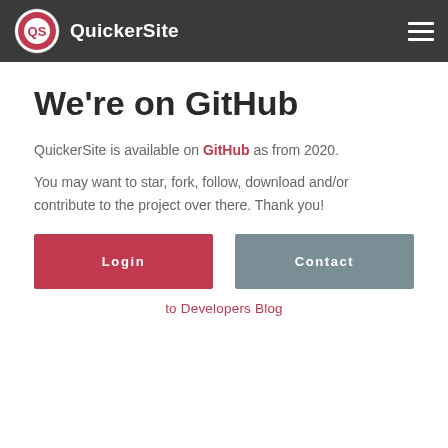QuickerSite
We're on GitHub
QuickerSite is available on GitHub as from 2020.
You may want to star, fork, follow, download and/or contribute to the project over there. Thank you!
Login
Contact
to Developers Blog